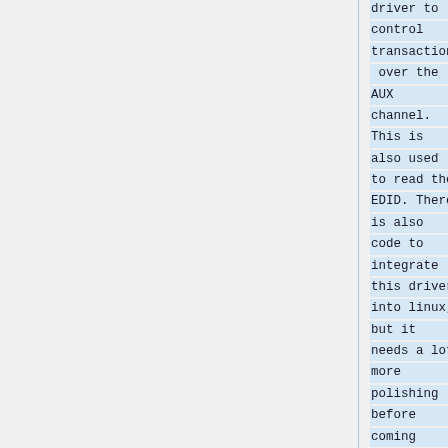driver to control transactions over the AUX channel. This is also used to read the EDID. There is also code to integrate this driver into linux, but it needs a lot more polishing before coming close to